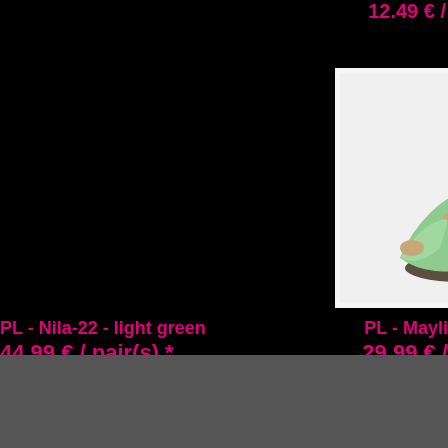12.49 € /
[Figure (photo): Light green high-heel platform pump shoe on white background]
PL - Nila-22 - light green
44.99 € / pair(s) *
PL - Mayli...
29.99 € /
* Prices incl. 19% VAT, plus delivery
Browse these categories as well: High Heels PLATEAU, High-Heels PU...
Home   Contact   Right of withdrawal   © 1996 - 2022 High Heels Shop by